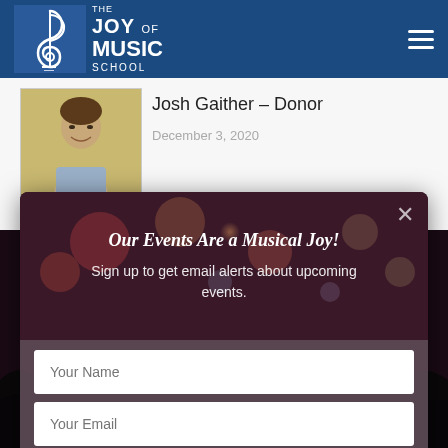The Joy of Music School
Josh Gaither – Donor
December 3, 2020
[Figure (photo): Photo of Josh Gaither, a man smiling seated at a piano or keyboard instrument]
[Figure (photo): Modal popup overlay with bokeh lights background and a concert audience photo behind it. Contains heading 'Our Events Are a Musical Joy!', subtext 'Sign up to get email alerts about upcoming events', and a form with Your Name input, Your Email input, and SIGN UP button.]
Our Events Are a Musical Joy!
Sign up to get email alerts about upcoming events.